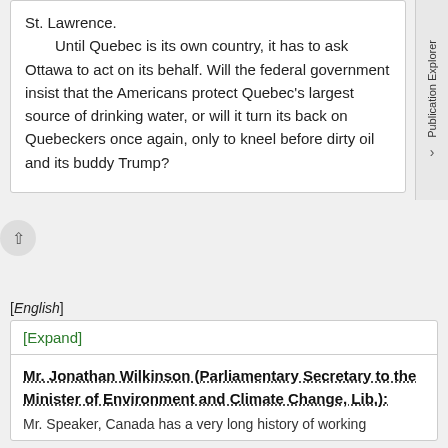St. Lawrence.
Until Quebec is its own country, it has to ask Ottawa to act on its behalf. Will the federal government insist that the Americans protect Quebec's largest source of drinking water, or will it turn its back on Quebeckers once again, only to kneel before dirty oil and its buddy Trump?
[English]
[Expand]
Mr. Jonathan Wilkinson (Parliamentary Secretary to the Minister of Environment and Climate Change, Lib.):
Mr. Speaker, Canada has a very long history of working